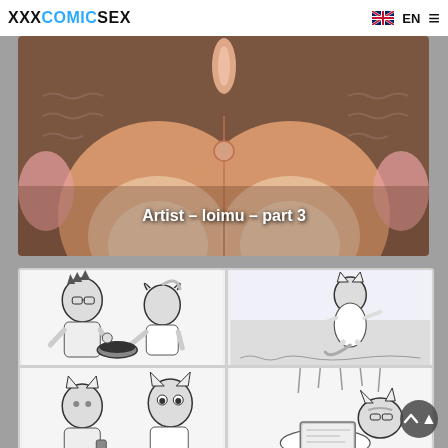XXXCOMICSEX  EN
[Figure (illustration): Anime/furry style adult illustration with text overlay 'Artist - loimu - part 3']
Artist - loimu - part 3
[Figure (illustration): Four-panel furry comic grid showing anthropomorphic animal characters in sketch style]